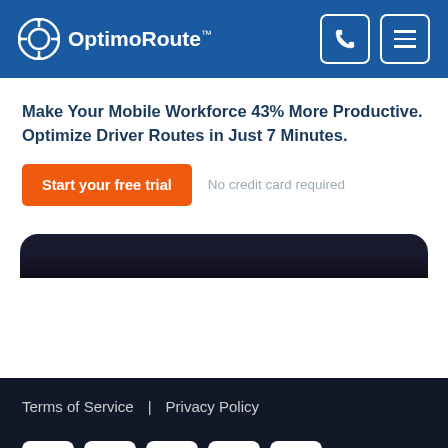OptimoRoute™
Make Your Mobile Workforce 43% More Productive. Optimize Driver Routes in Just 7 Minutes.
Start your free trial   No credit card required
[Figure (screenshot): Bottom portion of a mobile device screen shown in dark navy/black color with rounded top corners]
Terms of Service | Privacy Policy
[Figure (infographic): Row of social media icon buttons: email, phone, facebook, twitter, linkedin — white square icons with rounded corners on dark background]